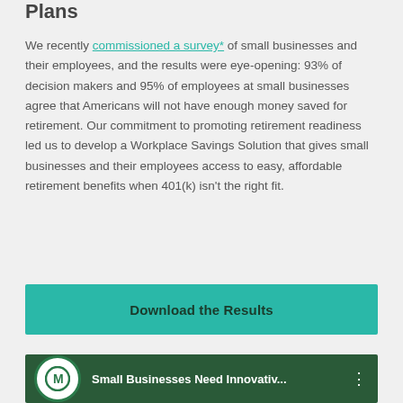Plans
We recently commissioned a survey* of small businesses and their employees, and the results were eye-opening: 93% of decision makers and 95% of employees at small businesses agree that Americans will not have enough money saved for retirement. Our commitment to promoting retirement readiness led us to develop a Workplace Savings Solution that gives small businesses and their employees access to easy, affordable retirement benefits when 401(k) isn't the right fit.
Download the Results
[Figure (screenshot): Green video thumbnail with circular M logo and text 'Small Businesses Need Innovativ...' with vertical dots menu icon]